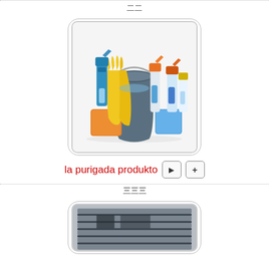二二
[Figure (photo): Cleaning products including a dark blue bucket, yellow rubber gloves, orange and blue sponges, and multiple spray bottles with blue and orange/red liquid]
la purigada produkto
三三三
[Figure (photo): A ventilation or air conditioning unit with horizontal slats/grilles, partially visible at the bottom of the page]